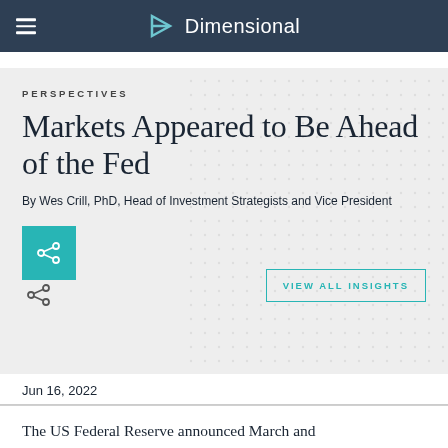Dimensional
PERSPECTIVES
Markets Appeared to Be Ahead of the Fed
By Wes Crill, PhD, Head of Investment Strategists and Vice President
VIEW ALL INSIGHTS
Jun 16, 2022
The US Federal Reserve announced March and